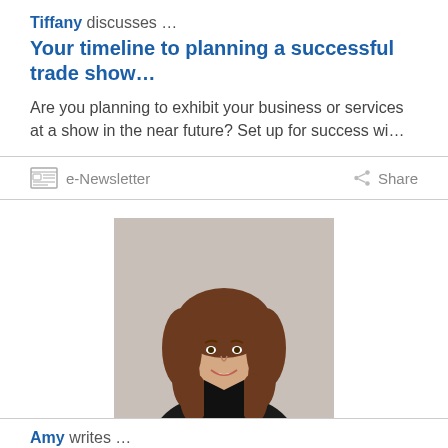Tiffany discusses …
Your timeline to planning a successful trade show…
Are you planning to exhibit your business or services at a show in the near future? Set up for success wi…
e-Newsletter
Share
[Figure (photo): Professional headshot of a woman with curly brown hair wearing a black top, smiling at camera]
Amy writes …
Your timeline to planning a successful trade